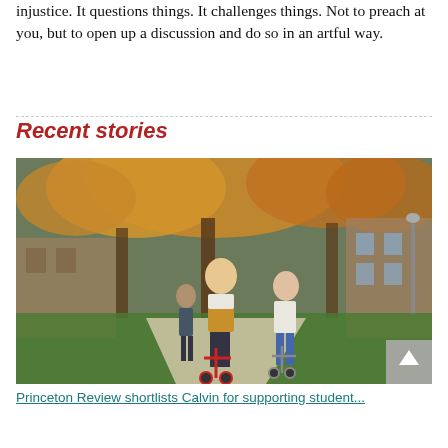injustice. It questions things. It challenges things. Not to preach at you, but to open up a discussion and do so in an artful way.
Recent stories
[Figure (photo): Students riding electric scooters on a campus pathway surrounded by autumn trees and brick buildings]
Princeton Review shortlists Calvin for supporting student...